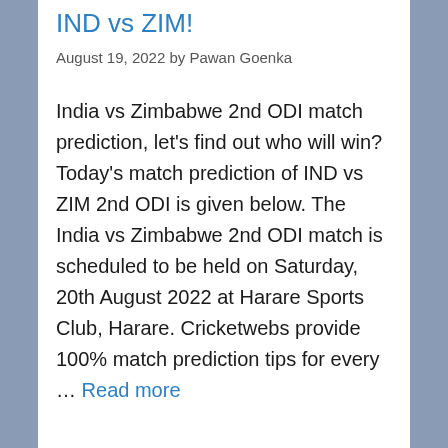IND vs ZIM!
August 19, 2022 by Pawan Goenka
India vs Zimbabwe 2nd ODI match prediction, let's find out who will win? Today's match prediction of IND vs ZIM 2nd ODI is given below. The India vs Zimbabwe 2nd ODI match is scheduled to be held on Saturday, 20th August 2022 at Harare Sports Club, Harare. Cricketwebs provide 100% match prediction tips for every … Read more